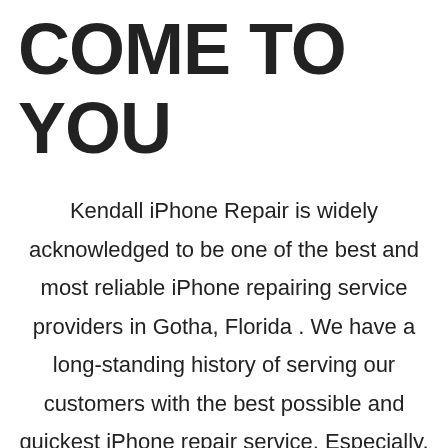COME TO YOU
Kendall iPhone Repair is widely acknowledged to be one of the best and most reliable iPhone repairing service providers in Gotha, Florida . We have a long-standing history of serving our customers with the best possible and quickest iPhone repair service. Especially, if your iPhone screen is broken, cracked, or faulty and it needs a screen replacement, please do not hesitate to